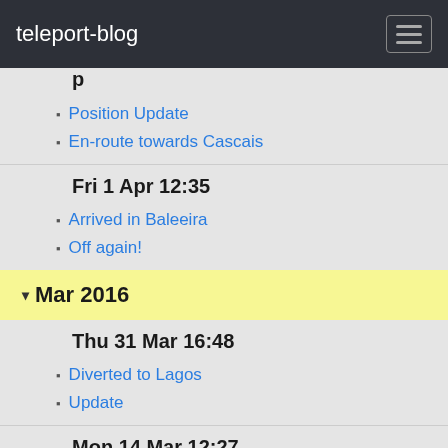teleport-blog
Position Update
En-route towards Cascais
Fri 1 Apr 12:35
Arrived in Baleeira
Off again!
Mar 2016
Thu 31 Mar 16:48
Diverted to Lagos
Update
Mon 14 Mar 12:27
Position Update
2012
May 2012
Fri 11 May 08:18
Arrived in Alicante